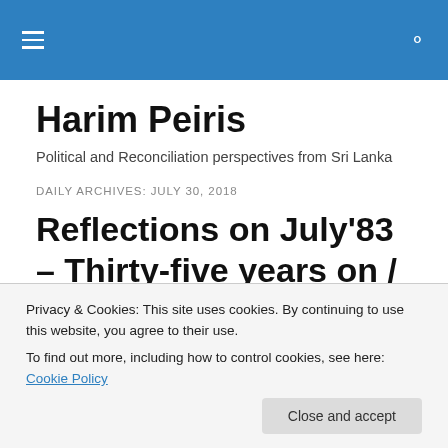Harim Peiris — site navigation header with hamburger menu and search icon
Harim Peiris
Political and Reconciliation perspectives from Sri Lanka
DAILY ARCHIVES: JULY 30, 2018
Reflections on July'83 – Thirty-five years on / Never again
Privacy & Cookies: This site uses cookies. By continuing to use this website, you agree to their use.
To find out more, including how to control cookies, see here: Cookie Policy
[Close and accept]